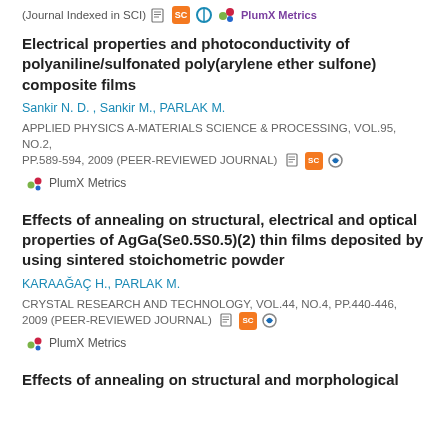(Journal Indexed in SCI)  PlumX Metrics
Electrical properties and photoconductivity of polyaniline/sulfonated poly(arylene ether sulfone) composite films
Sankir N. D. , Sankir M., PARLAK M.
APPLIED PHYSICS A-MATERIALS SCIENCE & PROCESSING, vol.95, no.2, pp.589-594, 2009 (Peer-Reviewed Journal)
PlumX Metrics
Effects of annealing on structural, electrical and optical properties of AgGa(Se0.5S0.5)(2) thin films deposited by using sintered stoichometric powder
KARAAĞAÇ H., PARLAK M.
CRYSTAL RESEARCH AND TECHNOLOGY, vol.44, no.4, pp.440-446, 2009 (Peer-Reviewed Journal)
PlumX Metrics
Effects of annealing on structural and morphological